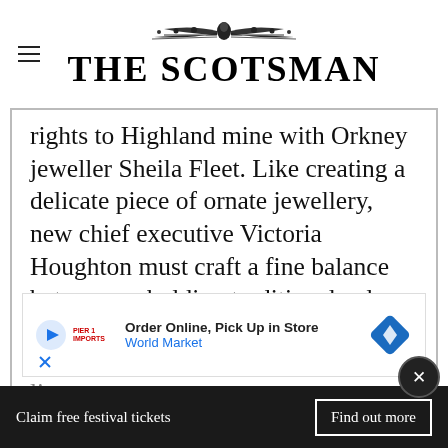[Figure (logo): The Scotsman newspaper logo with decorative ornament above the text]
rights to Highland mine with Orkney jeweller Sheila Fleet. Like creating a delicate piece of ornate jewellery, new chief executive Victoria Houghton must craft a fine balance between upholding traditional values and modernising the iconic retailer’s offering. “We are the only fine jeweller in Scotland with rights to the gold,” says Houghton. “We’ve created a beautiful bespoke collection – it’s a very
[Figure (screenshot): Advertisement banner: Order Online, Pick Up in Store - World Market, with blue diamond navigation icon]
lim... n me...
Claim free festival tickets  Find out more